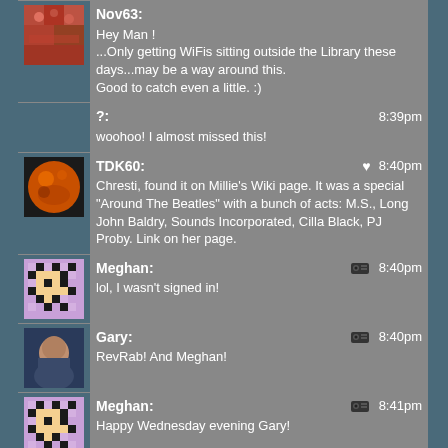Nov63: Hey Man ! ...Only getting WiFis sitting outside the Library these days...may be a way around this. Good to catch even a little. :)
?: 8:39pm woohoo! I almost missed this!
TDK60: 8:40pm Chresti, found it on Millie's Wiki page. It was a special "Around The Beatles" with a bunch of acts: M.S., Long John Baldry, Sounds Incorporated, Cilla Black, PJ Proby. Link on her page.
Meghan: 8:40pm lol, I wasn't signed in!
Gary: 8:40pm RevRab! And Meghan!
Meghan: 8:41pm Happy Wednesday evening Gary!
Meghan: 8:41pm